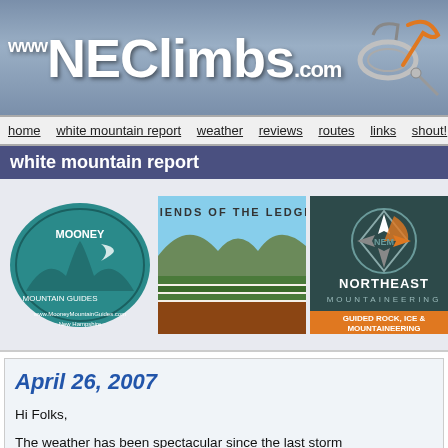[Figure (logo): NEClimbs.com website header logo with climbing gear image on right]
home  white mountain report  weather  reviews  routes  links  shout!  arc
white mountain report
[Figure (photo): Sponsor logos row: Mooney Mountain Guides (teal oval), Friends of the Ledges (landscape painting), Northeast Mountaineering (dark teal with compass logo, guided rock ice & mountaineering), and partially visible orange circle with figure]
April 26, 2007
Hi Folks,
The weather has been spectacular since the last storm came through. It doesn't matter what outdoors activity you are into, it's about as perfect as it can be at this time of year. I see climbers on the cliffs, cyclists on the road, cars parked at all of the trailheads